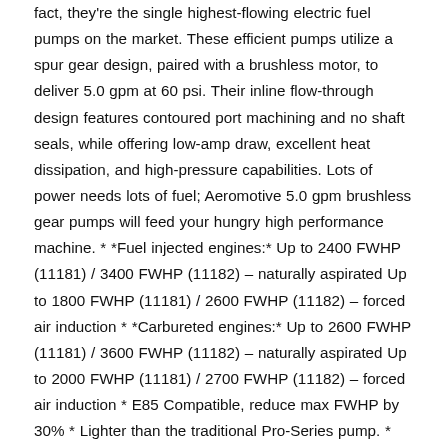fact, they're the single highest-flowing electric fuel pumps on the market. These efficient pumps utilize a spur gear design, paired with a brushless motor, to deliver 5.0 gpm at 60 psi. Their inline flow-through design features contoured port machining and no shaft seals, while offering low-amp draw, excellent heat dissipation, and high-pressure capabilities. Lots of power needs lots of fuel; Aeromotive 5.0 gpm brushless gear pumps will feed your hungry high performance machine. * *Fuel injected engines:* Up to 2400 FWHP (11181) / 3400 FWHP (11182) – naturally aspirated Up to 1800 FWHP (11181) / 2600 FWHP (11182) – forced air induction * *Carbureted engines:* Up to 2600 FWHP (11181) / 3600 FWHP (11182) – naturally aspirated Up to 2000 FWHP (11181) / 2700 FWHP (11182) – forced air induction * E85 Compatible, reduce max FWHP by 30% * Lighter than the traditional Pro-Series pump. * Reduced current draw at higher, EFI pressures. * Extended service life in methanol and ethanol. * New integral spur-gear pumping